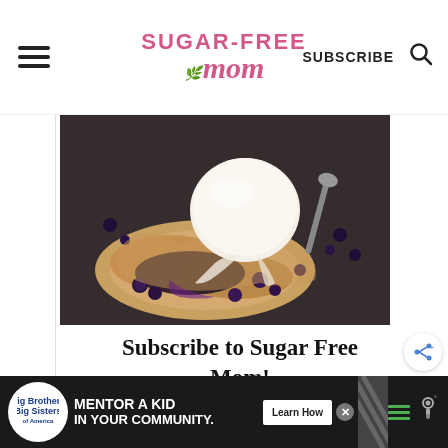Sugar-Free Mom | SUBSCRIBE
[Figure (photo): A rustic blackberry galette or tart with a scoop of vanilla ice cream on top, melting, surrounded by scattered blackberries on a dark stone surface. Spoon visible in the background.]
Subscribe to Sugar Free Mom!
Get updates on the latest posts and
[Figure (advertisement): Black ad bar at the bottom: Big Brothers Big Sisters logo, text 'MENTOR A KID IN YOUR COMMUNITY.' with a Learn How button and decorative diagonal lines and weather/menu icons on the right.]